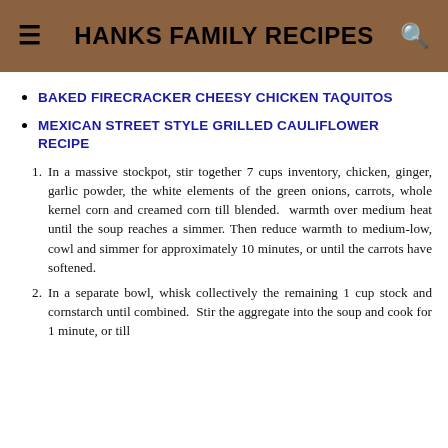HANKS FAMILY RECIPES
BAKED FIRECRACKER CHEESY CHICKEN TAQUITOS
MEXICAN STREET STYLE GRILLED CAULIFLOWER RECIPE
In a massive stockpot, stir together 7 cups inventory, chicken, ginger, garlic powder, the white elements of the green onions, carrots, whole kernel corn and creamed corn till blended. warmth over medium heat until the soup reaches a simmer. Then reduce warmth to medium-low, cowl and simmer for approximately 10 minutes, or until the carrots have softened.
In a separate bowl, whisk collectively the remaining 1 cup stock and cornstarch until combined. Stir the aggregate into the soup and cook for 1 minute, or till